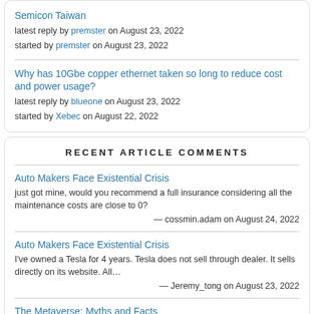Semicon Taiwan
latest reply by premster on August 23, 2022
started by premster on August 23, 2022
Why has 10Gbe copper ethernet taken so long to reduce cost and power usage?
latest reply by blueone on August 23, 2022
started by Xebec on August 22, 2022
RECENT ARTICLE COMMENTS
Auto Makers Face Existential Crisis
just got mine, would you recommend a full insurance considering all the maintenance costs are close to 0?
— cossmin.adam on August 24, 2022
Auto Makers Face Existential Crisis
I've owned a Tesla for 4 years. Tesla does not sell through dealer. It sells directly on its website. All…
— Jeremy_tong on August 23, 2022
The Metaverse: Myths and Facts
I'm with you on that! I'm sure there will be some work-related applications but the real